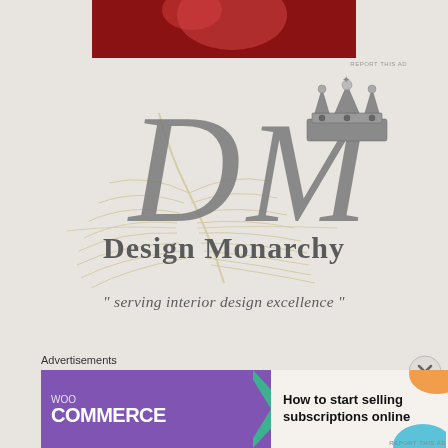[Figure (photo): Top portion of an advertisement with dark red/maroon background, partially visible]
REPORT THIS AD
[Figure (logo): Design Monarchy logo featuring ornate cursive DM letters with peacock feather background and crown illustration, with tagline 'serving interior design excellence']
Advertisements
[Figure (screenshot): WooCommerce advertisement banner: purple left side with WooCommerce logo and play button arrow, right side with text 'How to start selling subscriptions online' with orange and blue decorative blobs]